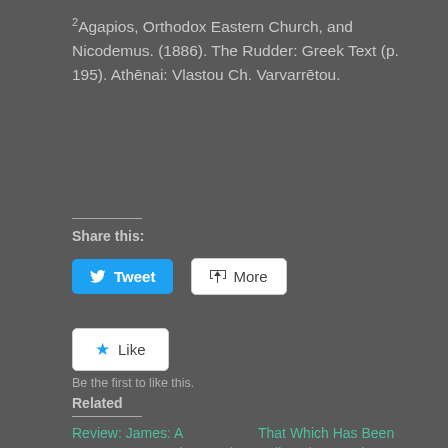²Agapios, Orthodox Eastern Church, and Nicodemus. (1886). The Rudder: Greek Text (p. 195). Athēnai: Vlastou Ch. Varvarrētou.
Share this:
[Figure (screenshot): Tweet button (blue, rounded) and More button (white, rounded) for sharing]
[Figure (screenshot): Like button (white, rounded) with blue star icon]
Be the first to like this.
Related
Review: James: A Commentary on the Greek Text
April 9, 2018
That Which Has Been Believed Everywhere, Always And By All: The Perpetual Virginity of the